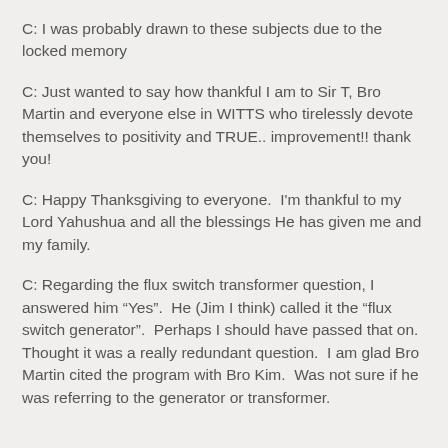C: I was probably drawn to these subjects due to the locked memory
C: Just wanted to say how thankful I am to Sir T, Bro Martin and everyone else in WITTS who tirelessly devote themselves to positivity and TRUE.. improvement!! thank you!
C: Happy Thanksgiving to everyone.  I'm thankful to my Lord Yahushua and all the blessings He has given me and my family.
C: Regarding the flux switch transformer question, I answered him “Yes”.  He (Jim I think) called it the “flux switch generator”.  Perhaps I should have passed that on.  Thought it was a really redundant question.  I am glad Bro Martin cited the program with Bro Kim.  Was not sure if he was referring to the generator or transformer.